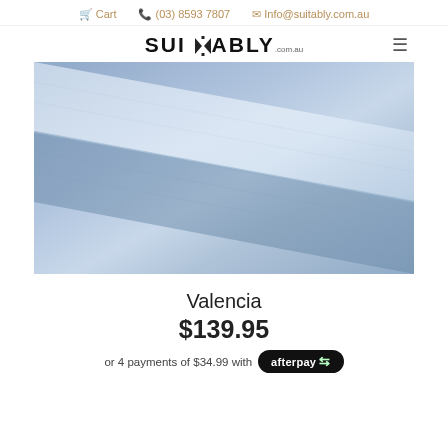Cart  (03) 8593 7807  Info@suitably.com.au
[Figure (logo): Suitably.com.au logo with bowtie icon and hamburger menu]
[Figure (photo): Blue/grey fabric folded diagonally on white background]
Valencia
$139.95
or 4 payments of $34.99 with afterpay